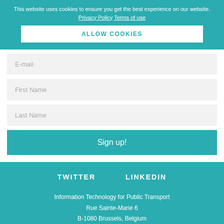This website uses cookies to ensure you get the best experience on our website. Privacy Policy Terms of use
ALLOW COOKIES
E-mail
First Name
Last Name
Sign up!
TWITTER
LINKEDIN
Information Technology for Public Transport
Rue Sainte-Marie 6
B-1080 Brussels, Belgium